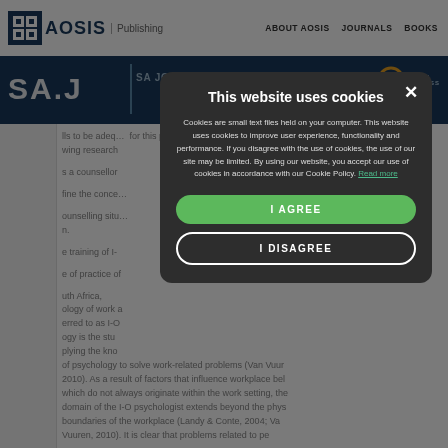AOSIS Publishing | ABOUT AOSIS | JOURNALS | BOOKS
[Figure (screenshot): AOSIS Publishing logo with navigation bar showing ABOUT AOSIS, JOURNALS, BOOKS links]
[Figure (screenshot): SA Journal of dark blue header bar with Open Access badge]
lls to be adequate for this purpose wing research as a counsellor fine the concept counselling situation the training of I- e of practice of uth Africa, ology of work a erred to as I-O ogy is the stu plying the kno of psychology to solve work-related problems (Van Vuur 2010). As a result of factors that influence workplace bel which do not always originate within the work setting, the domain of the I-O psychologist extends beyond the phys boundaries of the workplace (Landy & Conte, 2004; Va Vuuren, 2010). It is clear that problems related to pe
[Figure (screenshot): Cookie consent modal dialog over dimmed background. Title: This website uses cookies. Body text explains cookies usage. Green I AGREE button and white outlined I DISAGREE button.]
This website uses cookies
Cookies are small text files held on your computer. This website uses cookies to improve user experience, functionality and performance. If you disagree with the use of cookies, the use of our site may be limited. By using our website, you accept our use of cookies in accordance with our Cookie Policy. Read more
I AGREE
I DISAGREE